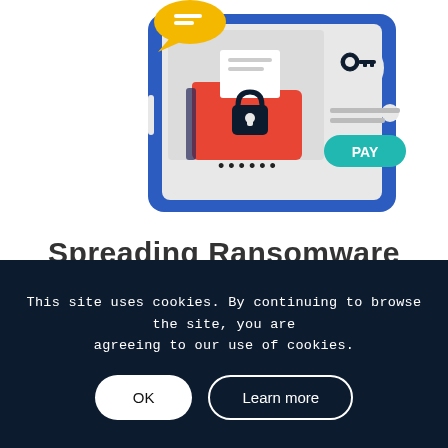[Figure (illustration): Illustration of a tablet displaying a ransomware payment screen: a locked red folder with a padlock, a key icon in a circle, a password field with asterisks, and a teal 'PAY' button. A yellow speech bubble appears above the tablet.]
Spreading Ransomware
Malicious emails often contain fake links or attachments that can install ransomware on the target's device.
This site uses cookies. By continuing to browse the site, you are agreeing to our use of cookies.